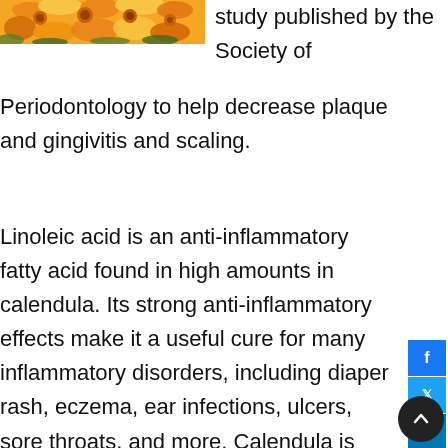[Figure (photo): Close-up photo of orange and yellow calendula flowers with green foliage]
study published by the Society of Periodontology to help decrease plaque and gingivitis and scaling.
Linoleic acid is an anti-inflammatory fatty acid found in high amounts in calendula. Its strong anti-inflammatory effects make it a useful cure for many inflammatory disorders, including diaper rash, eczema, ear infections, ulcers, sore throats, and more. Calendula is used in mouthwash to treat gum inflammations, as well.